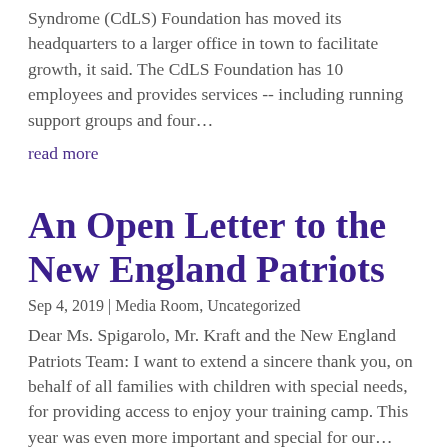Syndrome (CdLS) Foundation has moved its headquarters to a larger office in town to facilitate growth, it said. The CdLS Foundation has 10 employees and provides services -- including running support groups and four...
read more
An Open Letter to the New England Patriots
Sep 4, 2019 | Media Room, Uncategorized
Dear Ms. Spigarolo, Mr. Kraft and the New England Patriots Team: I want to extend a sincere thank you, on behalf of all families with children with special needs, for providing access to enjoy your training camp. This year was even more important and special for our...
read more